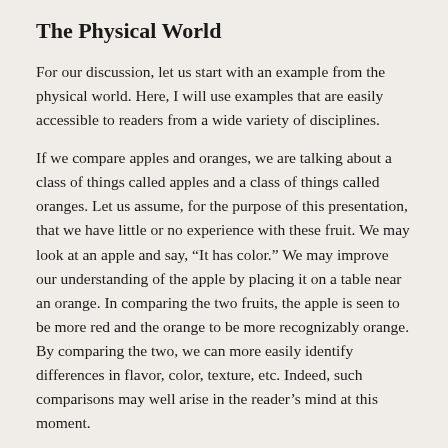The Physical World
For our discussion, let us start with an example from the physical world. Here, I will use examples that are easily accessible to readers from a wide variety of disciplines.
If we compare apples and oranges, we are talking about a class of things called apples and a class of things called oranges. Let us assume, for the purpose of this presentation, that we have little or no experience with these fruit. We may look at an apple and say, “It has color.” We may improve our understanding of the apple by placing it on a table near an orange. In comparing the two fruits, the apple is seen to be more red and the orange to be more recognizably orange. By comparing the two, we can more easily identify differences in flavor, color, texture, etc. Indeed, such comparisons may well arise in the reader’s mind at this moment.